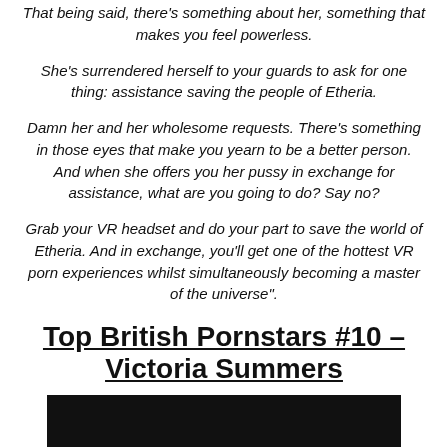That being said, there's something about her, something that makes you feel powerless.
She's surrendered herself to your guards to ask for one thing: assistance saving the people of Etheria.
Damn her and her wholesome requests. There's something in those eyes that make you yearn to be a better person. And when she offers you her pussy in exchange for assistance, what are you going to do? Say no?
Grab your VR headset and do your part to save the world of Etheria. And in exchange, you'll get one of the hottest VR porn experiences whilst simultaneously becoming a master of the universe".
Top British Pornstars #10 – Victoria Summers
[Figure (photo): Dark photo at bottom of page]